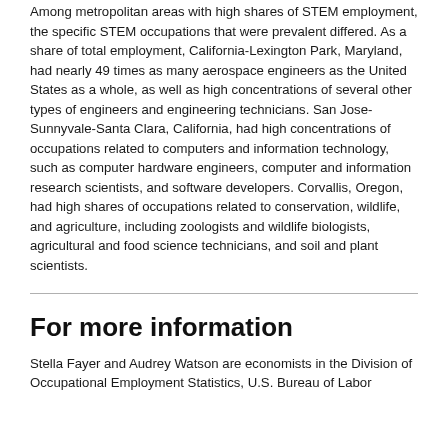Among metropolitan areas with high shares of STEM employment, the specific STEM occupations that were prevalent differed. As a share of total employment, California-Lexington Park, Maryland, had nearly 49 times as many aerospace engineers as the United States as a whole, as well as high concentrations of several other types of engineers and engineering technicians. San Jose-Sunnyvale-Santa Clara, California, had high concentrations of occupations related to computers and information technology, such as computer hardware engineers, computer and information research scientists, and software developers. Corvallis, Oregon, had high shares of occupations related to conservation, wildlife, and agriculture, including zoologists and wildlife biologists, agricultural and food science technicians, and soil and plant scientists.
For more information
Stella Fayer and Audrey Watson are economists in the Division of Occupational Employment Statistics, U.S. Bureau of Labor